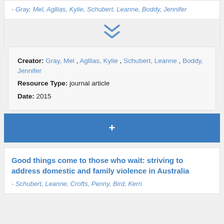- Gray, Mel, Agllias, Kylie, Schubert, Leanne, Boddy, Jennifer
[Figure (other): Double chevron down arrow icon in blue]
Creator: Gray, Mel , Agllias, Kylie , Schubert, Leanne , Boddy, Jennifer
Resource Type: journal article
Date: 2015
+
Good things come to those who wait: striving to address domestic and family violence in Australia
- Schubert, Leanne, Crofts, Penny, Bird, Kerri